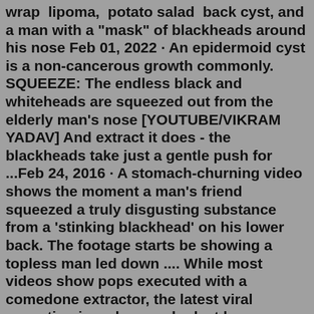wrap lipoma, potato salad back cyst, and a man with a "mask" of blackheads around his nose Feb 01, 2022 · An epidermoid cyst is a non-cancerous growth commonly. SQUEEZE: The endless black and whiteheads are squeezed out from the elderly man's nose [YOUTUBE/VIKRAM YADAV] And extract it does - the blackheads take just a gentle push for ...Feb 24, 2016 · A stomach-churning video shows the moment a man's friend squeezed a truly disgusting substance from a 'stinking blackhead' on his lower back. The footage starts be showing a topless man led down .... While most videos show pops executed with a comedone extractor, the latest viral sensation is a close-up look at how pore strips work.This then fills with all many of debris and oil, just like a regular blackhead but on a much bigger scale YouTube Dec 19, 2019 · Removing Huge Blackheads From Behind Ear Posted on December 19, 2019 February 8, 2021 Author Recail Posted in Blackheads Removal • Tagged big blackheads 2019 , Big blackheads in ear , big blackheads on face , big ...Feb 18, 2016 · Dr